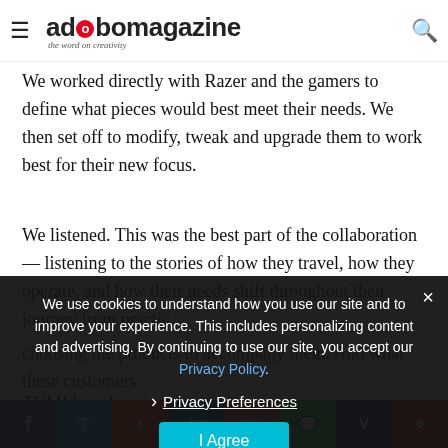adobo magazine — the word on creativity
products to reimagine?
We worked directly with Razer and the gamers to define what pieces would best meet their needs. We then set off to modify, tweak and upgrade them to work best for their new focus.
We listened. This was the best part of the collaboration — listening to the stories of how they travel, how they operate, and how their needs shift throughout their journey from practicing to competing, and the things that matter when choosing the products to accompany them. And what these customers...
We use cookies to understand how you use our site and to improve your experience. This includes personalizing content and advertising. By continuing to use our site, you accept our Privacy Policy.
Privacy Preferences
I Agree
TUMI has always been about giving customers that experience of ease ... ry and doing th... through innovation inso... ious industries and